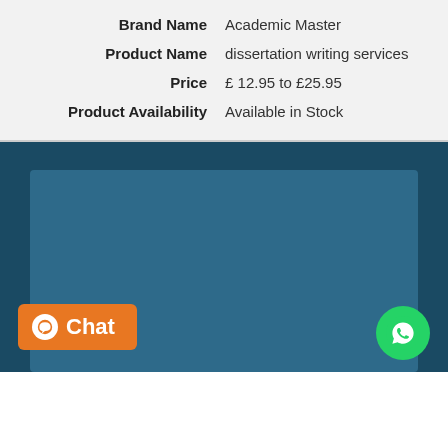| Brand Name | Academic Master |
| Product Name | dissertation writing services |
| Price | £ 12.95 to £25.95 |
| Product Availability | Available in Stock |
[Figure (screenshot): Dark teal/blue background section with a slightly lighter inner rectangular box. Contains an orange 'Chat' button in the bottom left and a green WhatsApp icon button in the bottom right.]